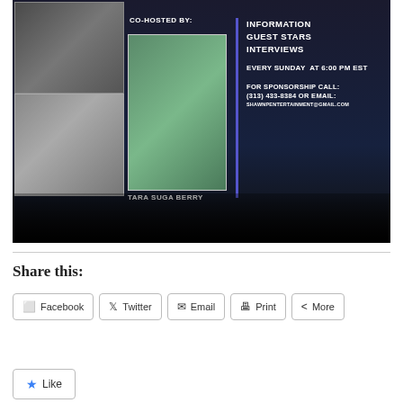[Figure (photo): Promotional flyer/screenshot showing a show with co-hosted by Tara Suga Berry. Contains photos of three people (two on left column, one center), text listing Information, Guest Stars, Interviews, Every Sunday at 6:00 PM EST, For Sponsorship Call: (313) 433-8384 or Email: shawnpentertainment@gmail.com. Dark city skyline background.]
Share this:
Facebook
Twitter
Email
Print
More
Like